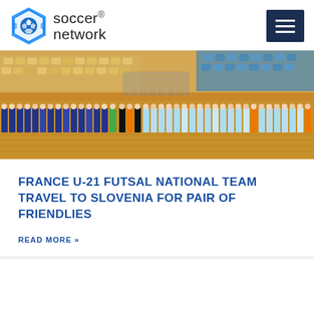[Figure (logo): Soccer Network logo with hexagonal shield icon and text 'soccer network']
[Figure (photo): Indoor futsal arena with two teams of players lined up facing each other before a match, blue team on left, light blue/white team on right, referees in orange in the middle, wooden court floor and yellow stadium seats in background]
FRANCE U-21 FUTSAL NATIONAL TEAM TRAVEL TO SLOVENIA FOR PAIR OF FRIENDLIES
READ MORE »